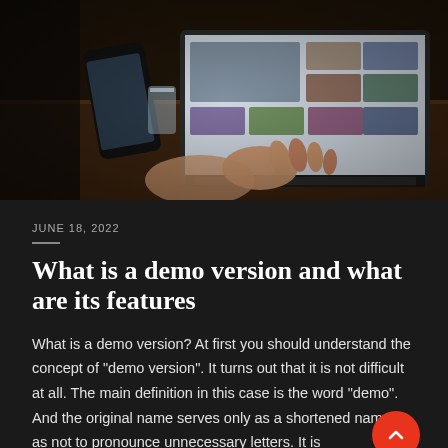[Figure (photo): Person typing on a laptop at a wooden desk with a smartphone and glass of water nearby; laptop screen shows a photo grid website]
JUNE 18, 2022
What is a demo version and what are its features
What is a demo version? At first you should understand the concept of “demo version”. It turns out that it is not difficult at all. The main definition in this case is the word “demo”. And the original name serves only as a shortened nam so as not to pronounce unnecessary letters. It is